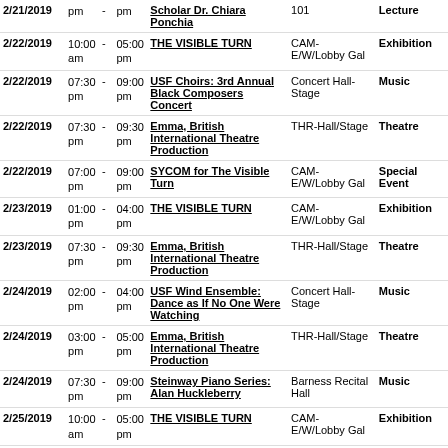| Date | Start |  | End | Event | Location | Type |
| --- | --- | --- | --- | --- | --- | --- |
| 2/21/2019 | pm | - | pm | Scholar Dr. Chiara Ponchia | 101 | Lecture |
| 2/22/2019 | 10:00 am | - | 05:00 pm | THE VISIBLE TURN | CAM-E/W/Lobby Gal | Exhibition |
| 2/22/2019 | 07:30 pm | - | 09:00 pm | USF Choirs: 3rd Annual Black Composers Concert | Concert Hall-Stage | Music |
| 2/22/2019 | 07:30 pm | - | 09:30 pm | Emma, British International Theatre Production | THR-Hall/Stage | Theatre |
| 2/22/2019 | 07:00 pm | - | 09:00 pm | SYCOM for The Visible Turn | CAM-E/W/Lobby Gal | Special Event |
| 2/23/2019 | 01:00 pm | - | 04:00 pm | THE VISIBLE TURN | CAM-E/W/Lobby Gal | Exhibition |
| 2/23/2019 | 07:30 pm | - | 09:30 pm | Emma, British International Theatre Production | THR-Hall/Stage | Theatre |
| 2/24/2019 | 02:00 pm | - | 04:00 pm | USF Wind Ensemble: Dance as If No One Were Watching | Concert Hall-Stage | Music |
| 2/24/2019 | 03:00 pm | - | 05:00 pm | Emma, British International Theatre Production | THR-Hall/Stage | Theatre |
| 2/24/2019 | 07:30 pm | - | 09:00 pm | Steinway Piano Series: Alan Huckleberry | Barness Recital Hall | Music |
| 2/25/2019 | 10:00 am | - | 05:00 pm | THE VISIBLE TURN | CAM-E/W/Lobby Gal | Exhibition |
| 2/25/2019 | 07:30 pm | - | 09:00 pm | Monday Night Jazz Series: MARK TAYLOR and MARVIN STAMM | Concert Hall-Stage | Music |
| 2/25/2019 | 11:00 am | - | 03:00 pm | Tectonics, Art & Architecture | CMW Gallery | Exhibition |